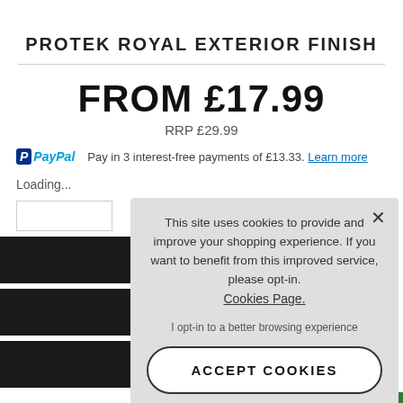PROTEK ROYAL EXTERIOR FINISH
FROM £17.99
RRP £29.99
Pay in 3 interest-free payments of £13.33. Learn more
Loading...
[Figure (screenshot): Cookie consent popup overlay with text: This site uses cookies to provide and improve your shopping experience. If you want to benefit from this improved service, please opt-in. Cookies Page. I opt-in to a better browsing experience. ACCEPT COOKIES button.]